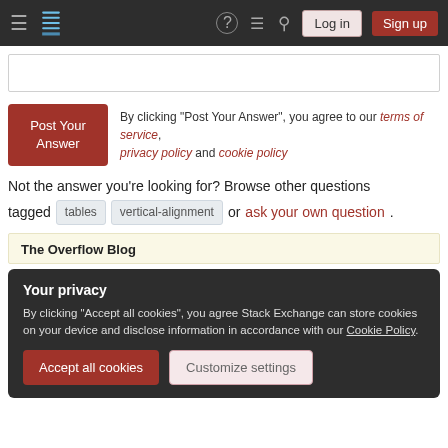Stack Overflow navigation bar with Log in and Sign up buttons
By clicking "Post Your Answer", you agree to our terms of service, privacy policy and cookie policy
Not the answer you're looking for? Browse other questions tagged tables vertical-alignment or ask your own question.
The Overflow Blog
Your privacy
By clicking "Accept all cookies", you agree Stack Exchange can store cookies on your device and disclose information in accordance with our Cookie Policy.